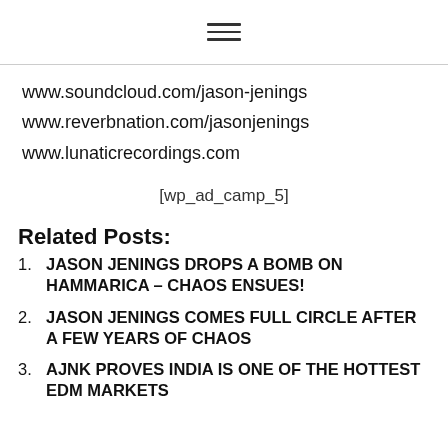≡
www.soundcloud.com/jason-jenings
www.reverbnation.com/jasonjenings
www.lunaticrecordings.com
[wp_ad_camp_5]
Related Posts:
1. JASON JENINGS DROPS A BOMB ON HAMMARICA – CHAOS ENSUES!
2. JASON JENINGS COMES FULL CIRCLE AFTER A FEW YEARS OF CHAOS
3. AJNK PROVES INDIA IS ONE OF THE HOTTEST EDM MARKETS